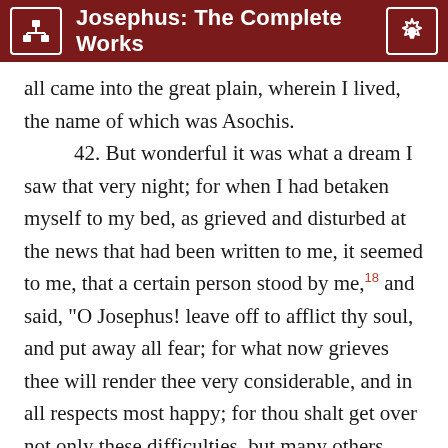Josephus: The Complete Works
all came into the great plain, wherein I lived, the name of which was Asochis.

42. But wonderful it was what a dream I saw that very night; for when I had betaken myself to my bed, as grieved and disturbed at the news that had been written to me, it seemed to me, that a certain person stood by me,18 and said, "O Josephus! leave off to afflict thy soul, and put away all fear; for what now grieves thee will render thee very considerable, and in all respects most happy; for thou shalt get over not only these difficulties, but many others, with great success. However, be not cast down, but remember that thou art to fight